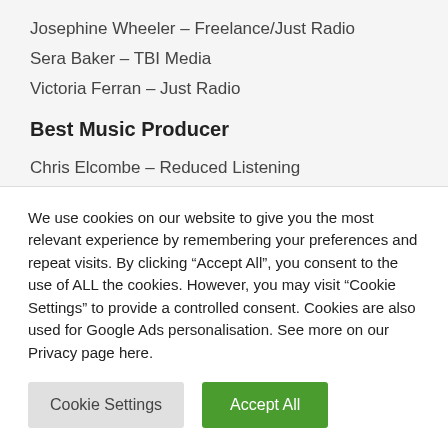Josephine Wheeler – Freelance/Just Radio
Sera Baker – TBI Media
Victoria Ferran – Just Radio
Best Music Producer
Chris Elcombe – Reduced Listening
Fuzz Chaudhrey – Wisebuddah
Jax Coombes – BBC Radio 6 Music
We use cookies on our website to give you the most relevant experience by remembering your preferences and repeat visits. By clicking “Accept All”, you consent to the use of ALL the cookies. However, you may visit “Cookie Settings” to provide a controlled consent. Cookies are also used for Google Ads personalisation. See more on our Privacy page here.